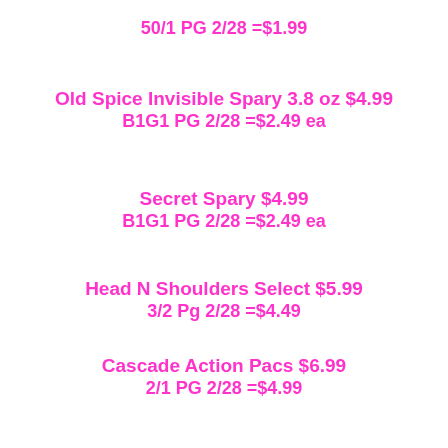50/1 PG 2/28 =$1.99
Old Spice Invisible Spary 3.8 oz $4.99
B1G1 PG 2/28 =$2.49 ea
Secret Spary $4.99
B1G1 PG 2/28 =$2.49 ea
Head N Shoulders Select $5.99
3/2 Pg 2/28 =$4.49
Cascade Action Pacs $6.99
2/1 PG 2/28 =$4.99
Swiffer Starter Kits $11.99
2/1 PG 2/28 =$9.99